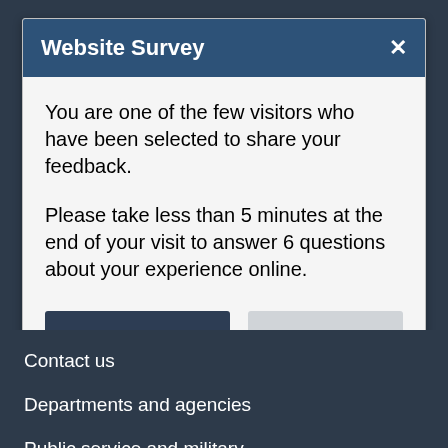Website Survey
You are one of the few visitors who have been selected to share your feedback.
Please take less than 5 minutes at the end of your visit to answer 6 questions about your experience online.
Yes, after my visit.
No, thank you.
Contact us
Departments and agencies
Public service and military